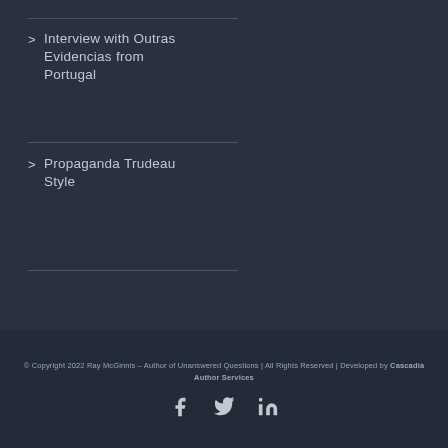Interview with Outras Evidencias from Portugal
Propaganda Trudeau Style
© Copyright 2022 Ray McGinnis – Author of Unanswered Questions | All Rights Reserved | Developed by Cascadia Author Services